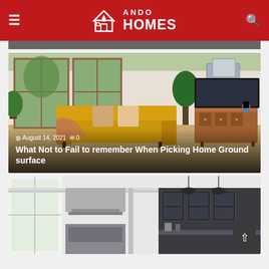ANDO HOMES
[Figure (photo): Living room with golden/mustard velvet sofa, wood floor, large windows with greenery outside, plants, wooden credenza, wall art]
August 14, 2021   0
What Not to Fail to remember When Picking Home Ground surface
[Figure (photo): Modern dark grey kitchen with pendant lights, glass-front cabinets, white walls and trim, large windows]